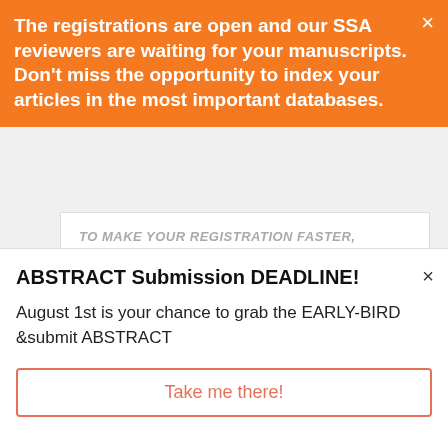The registrations are open and our SSA reviewers are waiting for your manuscripts. Don't miss the opportunity to index your articles in the most important databases.
TO MAKE YOUR REGISTRATION FASTER, please fill in this REGISTRATION FORM and SEND it BACK to scienceart@sgemsocial.org. Thank you!
[Figure (infographic): A horizontal progress bar at 87% fill, orange-salmon color, with label '87%' above]
WHO'S ONLINE
ABSTRACT Submission DEADLINE!
August 1st is your chance to grab the EARLY-BIRD &submit ABSTRACT
Take me there!